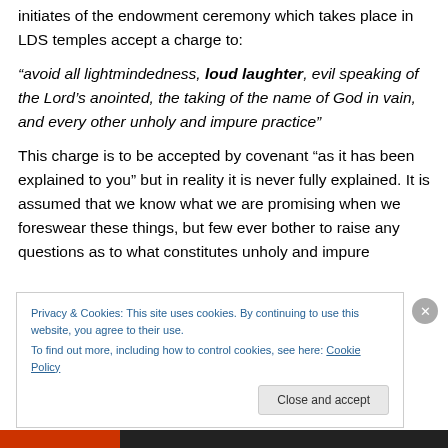initiates of the endowment ceremony which takes place in LDS temples accept a charge to:
“avoid all lightmindedness, loud laughter, evil speaking of the Lord’s anointed, the taking of the name of God in vain, and every other unholy and impure practice”
This charge is to be accepted by covenant “as it has been explained to you” but in reality it is never fully explained. It is assumed that we know what we are promising when we foreswear these things, but few ever bother to raise any questions as to what constitutes unholy and impure
Privacy & Cookies: This site uses cookies. By continuing to use this website, you agree to their use.
To find out more, including how to control cookies, see here: Cookie Policy
Close and accept